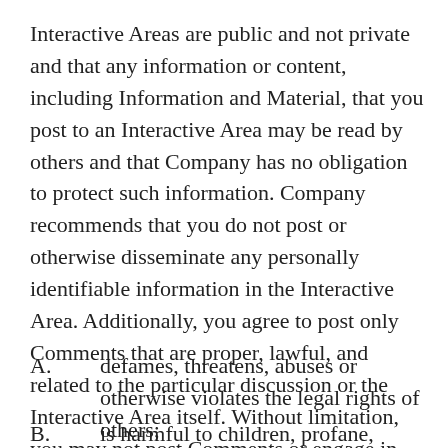Interactive Areas are public and not private and that any information or content, including Information and Material, that you post to an Interactive Area may be read by others and that Company has no obligation to protect such information. Company recommends that you do not post or otherwise disseminate any personally identifiable information in the Interactive Area. Additionally, you agree to post only Comments that are proper, lawful, and related to the particular discussion or the Interactive Area itself. Without limitation, you may not post Comments or engage in any other activity on the Site that:
A.        defames, threatens, abuses or otherwise violates the legal rights of others;
B.        is harmful to children, profane, obscene,